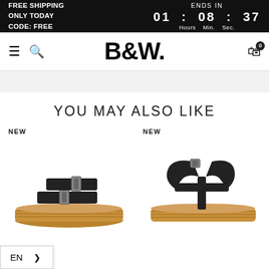FREE SHIPPING ONLY TODAY CODE: FREE | ENDS IN 01 : 08 : 37 Hours Min. Sec.
[Figure (logo): B&W brand logo with hamburger menu, search icon, and cart icon with 0 badge]
YOU MAY ALSO LIKE
NEW
[Figure (photo): Black platform sandal with two straps and cork/rope sole, left product]
NEW
[Figure (photo): Black platform sandal with ankle strap and cork sole, right product]
EN >